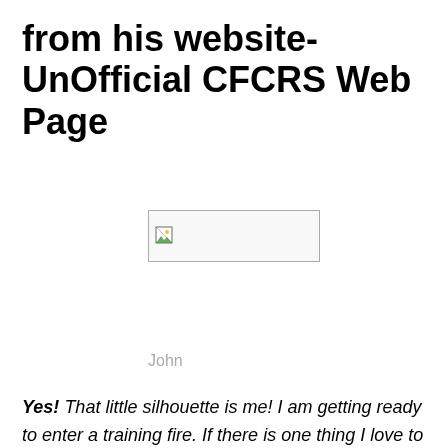from his website- UnOfficial CFCRS Web Page
[Figure (photo): Broken image placeholder showing a small icon in the top-left corner of a box with a gray border]
John
Yes! That little silhouette is me! I am getting ready to enter a training fire. If there is one thing I love to do (other than